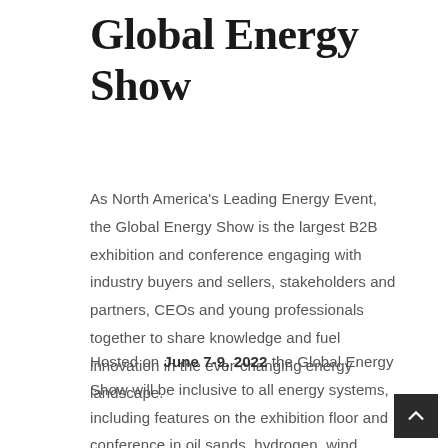Global Energy Show
As North America's Leading Energy Event, the Global Energy Show is the largest B2B exhibition and conference engaging with industry buyers and sellers, stakeholders and partners, CEOs and young professionals together to share knowledge and fuel innovation in the ever-changing energy landscape.
Hosted on June 7-9, 2022 the Global Energy Show will be inclusive to all energy systems, including features on the exhibition floor and conference in oil sands, hydrogen, wind, solar,